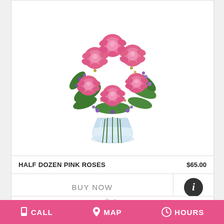[Figure (photo): Bouquet of pink roses with purple statice and greenery in a clear glass vase]
HALF DOZEN PINK ROSES    $65.00
BUY NOW
[Figure (photo): Partial view of white flower arrangement at bottom of page]
CALL   MAP   HOURS